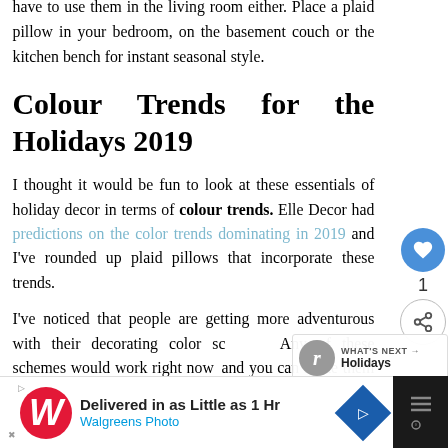have to use them in the living room either. Place a plaid pillow in your bedroom, on the basement couch or the kitchen bench for instant seasonal style.
Colour Trends for the Holidays 2019
I thought it would be fun to look at these essentials of holiday decor in terms of colour trends. Elle Decor had predictions on the color trends dominating in 2019 and I've rounded up plaid pillows that incorporate these trends.
I've noticed that people are getting more adventurous with their decorating color sc... Any of these schemes would work right now... and you can make them last well into the holi...
[Figure (other): Advertisement banner: Walgreens Photo - Delivered in as Little as 1 Hr]